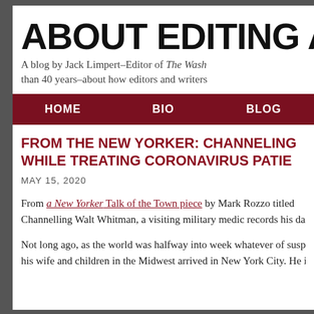ABOUT EDITING A
A blog by Jack Limpert–Editor of The Wash than 40 years–about how editors and writers
HOME   BIO   BLOG
FROM THE NEW YORKER: CHANNELING WHILE TREATING CORONAVIRUS PATIE
MAY 15, 2020
From a New Yorker Talk of the Town piece by Mark Rozzo titled Channelling Walt Whitman, a visiting military medic records his dail
Not long ago, as the world was halfway into week whatever of suspe his wife and children in the Midwest arrived in New York City. He is